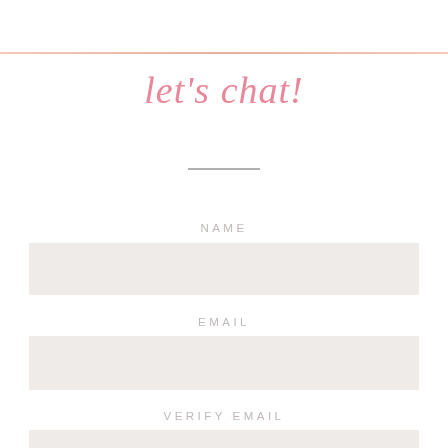let's chat!
NAME
[Figure (other): Empty form input field for NAME]
EMAIL
[Figure (other): Empty form input field for EMAIL]
VERIFY EMAIL
[Figure (other): Empty form input field for VERIFY EMAIL]